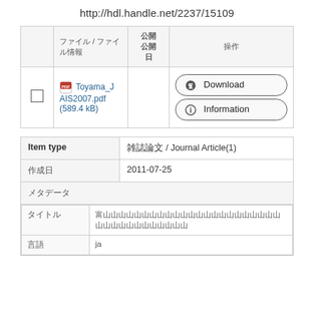http://hdl.handle.net/2237/15109
|  | ファイル / ファイル情報 | 公開 公開 日 | 操作 |
| --- | --- | --- | --- |
| ☐ | Toyama_JAIS2007.pdf (589.4 kB) |  | Download / Information |
| Item type | アイテムタイプ / Journal Article(1) |
| --- | --- |
| 作成日 | 2011-07-25 |
| メタデータ |  |
| タイトル | 富山山山山山山山山山山山山山山山山山山山山山山山山山山山山山山山山山山山 |
| 言語 | ja |